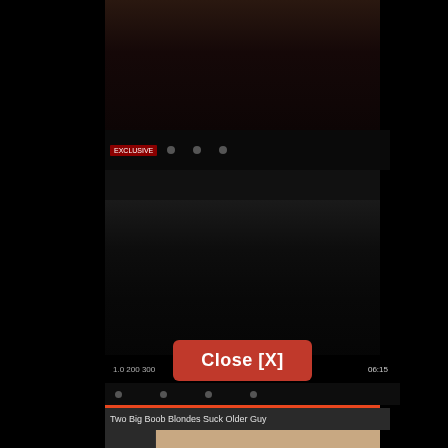[Figure (screenshot): Video player screenshot with dark background, partially visible adult content video thumbnail at top]
[Figure (screenshot): Second darker video thumbnail area in middle of screen]
Close [X]
Two Big Boob Blondes Suck Older Guy
[Figure (photo): Thumbnail image showing blond women at bottom of screen]